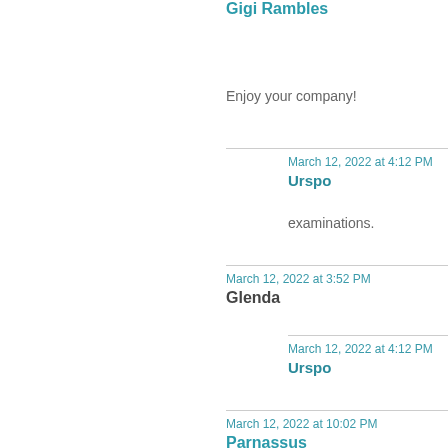Gigi Rambles
Enjoy your company!
March 12, 2022 at 4:12 PM
Urspo
examinations.
March 12, 2022 at 3:52 PM
Glenda
March 12, 2022 at 4:12 PM
Urspo
March 12, 2022 at 10:02 PM
Parnassus
–Jim
March 15, 2022 at 3:24 PM
Urspo